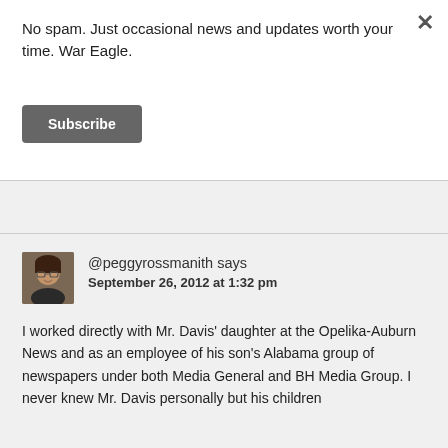No spam. Just occasional news and updates worth your time. War Eagle.
Subscribe
@peggyrossmanith says
September 26, 2012 at 1:32 pm
I worked directly with Mr. Davis' daughter at the Opelika-Auburn News and as an employee of his son's Alabama group of newspapers under both Media General and BH Media Group. I never knew Mr. Davis personally but his children